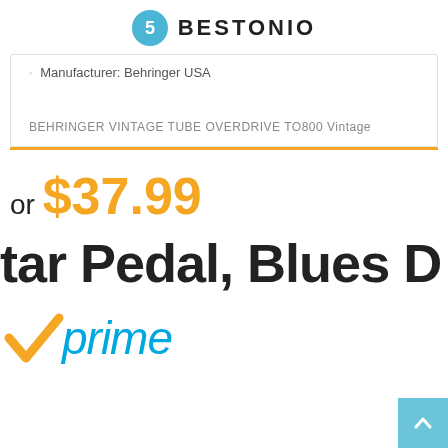BESTONIO
Manufacturer: Behringer USA
BEHRINGER VINTAGE TUBE OVERDRIVE TO800 Vintage
or $37.99
tar Pedal, Blues D
[Figure (logo): Amazon Prime logo with orange checkmark and 'prime' in blue italic text]